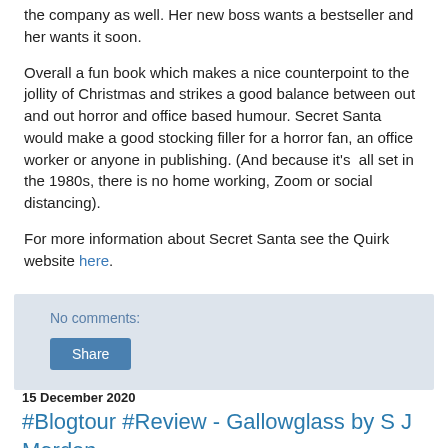the company as well. Her new boss wants a bestseller and her wants it soon.
Overall a fun book which makes a nice counterpoint to the jollity of Christmas and strikes a good balance between out and out horror and office based humour. Secret Santa would make a good stocking filler for a horror fan, an office worker or anyone in publishing. (And because it's all set in the 1980s, there is no home working, Zoom or social distancing).
For more information about Secret Santa see the Quirk website here.
No comments:
Share
15 December 2020
#Blogtour #Review - Gallowglass by S J Morden